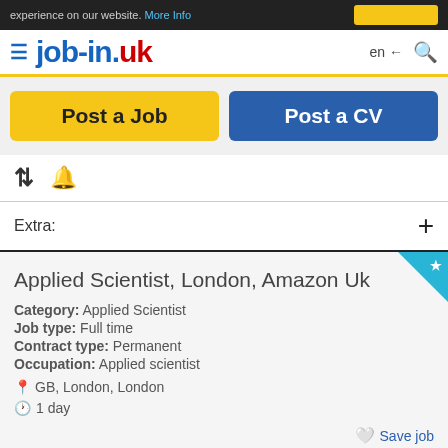experience on our website. More Info
job-in.uk
Post a Job
Post a CV
Extra: +
Applied Scientist, London, Amazon Uk
Category: Applied Scientist
Job type: Full time
Contract type: Permanent
Occupation: Applied scientist
GB, London, London
1 day
Save job